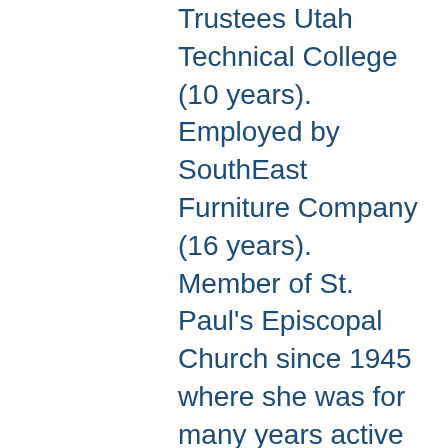Trustees Utah Technical College (10 years). Employed by SouthEast Furniture Company (16 years). Member of St. Paul's Episcopal Church since 1945 where she was for many years active in the Altar Guild. She particularly enjoyed her role in preparing brides for their weddings. Malmquist passed away on December